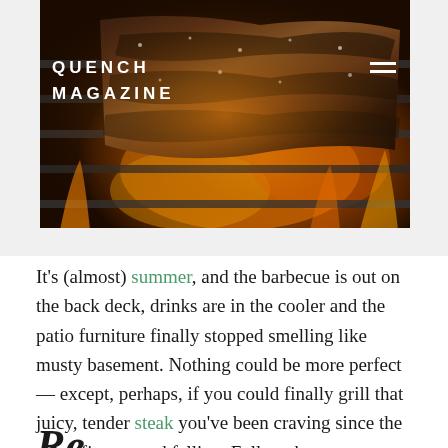[Figure (photo): Grilled steak on barbecue grill with flames and charcoal, close-up shot]
QUENCH MAGAZINE
It's (almost) summer, and the barbecue is out on the back deck, drinks are in the cooler and the patio furniture finally stopped smelling like musty basement. Nothing could be more perfect — except, perhaps, if you could finally grill that juicy, tender steak you've been craving since the snow first started falling. Follow these easy steps to make sure that your steak is as perfect as the summer weather.
Re...